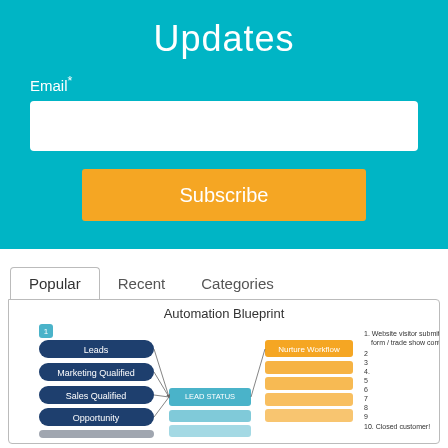Updates
Email*
Subscribe
Popular   Recent   Categories
[Figure (flowchart): Automation Blueprint flowchart showing stages: Leads, Marketing Qualified, Sales Qualified, Opportunity connected to LEAD STATUS box and Nurture Workflow with numbered steps 1-10 including 'Website visitor submits a form / trade show contact' and '10. Closed customer!']